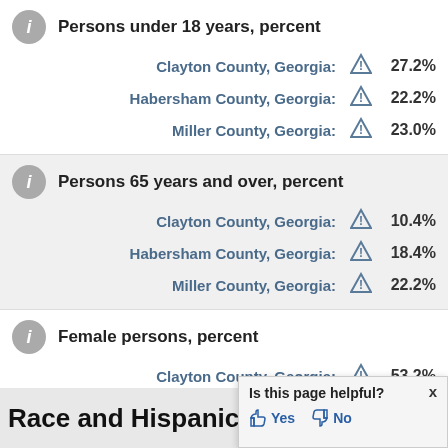Persons under 18 years, percent
Clayton County, Georgia: ⚠ 27.2%
Habersham County, Georgia: ⚠ 22.2%
Miller County, Georgia: ⚠ 23.0%
Persons 65 years and over, percent
Clayton County, Georgia: ⚠ 10.4%
Habersham County, Georgia: ⚠ 18.4%
Miller County, Georgia: ⚠ 22.2%
Female persons, percent
Clayton County, Georgia: ⚠ 53.2%
Habersham County, Georgia: ⚠ 52.0%
Miller County, Georgia: ⚠ 52.2%
Race and Hispanic Origin
Is this page helpful? Yes No